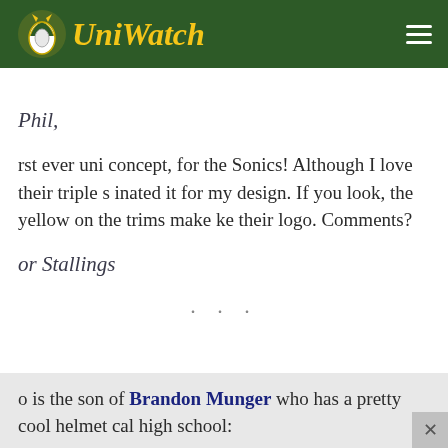Uni Watch
Phil,
rst ever uni concept, for the Sonics! Although I love their triple s inated it for my design. If you look, the yellow on the trims make ke their logo. Comments?
or Stallings
· · ·
o is the son of Brandon Munger who has a pretty cool helmet cal high school: